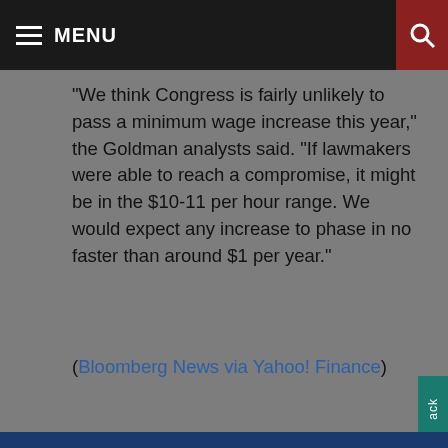MENU
"We think Congress is fairly unlikely to pass a minimum wage increase this year," the Goldman analysts said. "If lawmakers were able to reach a compromise, it might be in the $10-11 per hour range. We would expect any increase to phase in no faster than around $1 per year."
(Bloomberg News via Yahoo! Finance)
We use cookies to make our site work, to improve your experience, and we use our own, and third-party cookies, for advertising. Please see our Cookie Policy for more information and how to disable them. By clicking accept, or closing the message and continuing to use this site, you agree to our use of cookies.
ACCEPT